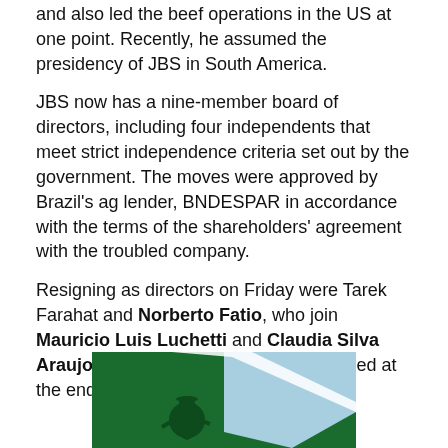and also led the beef operations in the US at one point. Recently, he assumed the presidency of JBS in South America.
JBS now has a nine-member board of directors, including four independents that meet strict independence criteria set out by the government. The moves were approved by Brazil's ag lender, BNDESPAR in accordance with the terms of the shareholders' agreement with the troubled company.
Resigning as directors on Friday were Tarek Farahat and Norberto Fatio, who join Mauricio Luis Luchetti and Claudia Silva Araujo de Azeredo Santos, who resigned at the end of August.
[Figure (logo): JBS company logo with green background and figure of person on tractor or farming equipment, with light blue sky area]